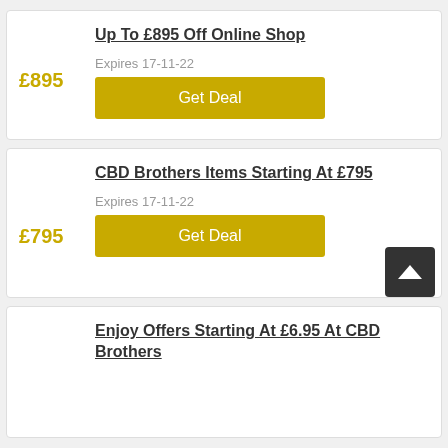Up To £895 Off Online Shop
£895
Expires 17-11-22
Get Deal
CBD Brothers Items Starting At £795
£795
Expires 17-11-22
Get Deal
Enjoy Offers Starting At £6.95 At CBD Brothers